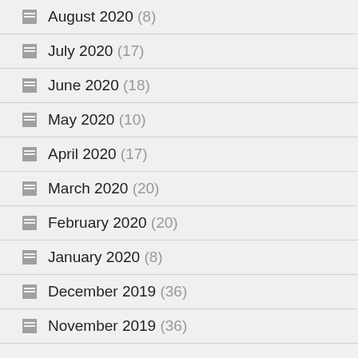August 2020 (8)
July 2020 (17)
June 2020 (18)
May 2020 (10)
April 2020 (17)
March 2020 (20)
February 2020 (20)
January 2020 (8)
December 2019 (36)
November 2019 (36)